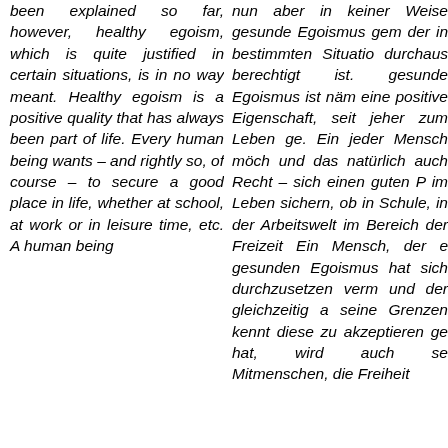been explained so far, however, healthy egoism, which is quite justified in certain situations, is in no way meant. Healthy egoism is a positive quality that has always been part of life. Every human being wants – and rightly so, of course – to secure a good place in life, whether at school, at work or in leisure time, etc. A human being
nun aber in keiner Weise gesunde Egoismus gem der in bestimmten Situatio durchaus berechtigt ist. gesunde Egoismus ist näm eine positive Eigenschaft, seit jeher zum Leben ge. Ein jeder Mensch möch und das natürlich auch Recht – sich einen guten P im Leben sichern, ob in Schule, in der Arbeitswelt im Bereich der Freizeit Ein Mensch, der e gesunden Egoismus hat sich durchzusetzen verm und der gleichzeitig a seine Grenzen kennt diese zu akzeptieren ge hat, wird auch se Mitmenschen, die Freiheit